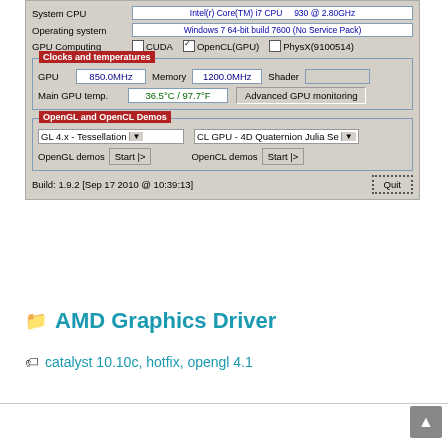[Figure (screenshot): GPU-Z or similar GPU info utility screenshot showing system CPU, operating system (Windows 7 64-bit build 7600 No Service Pack), GPU Computing options (CUDA unchecked, OpenCL(GPU) checked, PhysX(9100514) unchecked), Clocks and temperatures section with GPU 850.0MHz, Memory 1200.0MHz, Main GPU temp 36.5°C / 97.7°F, Advanced GPU monitoring button, OpenGL and OpenCL Demos section with GL 4.x - Tessellation and CL GPU - 4D Quaternion Julia Se dropdowns, OpenGL demos Start and OpenCL demos Start buttons, Build: 1.9.2 [Sep 17 2010 @ 10:39:13] and Quit button]
Continue reading »
AMD Graphics Driver
catalyst 10.10c, hotfix, opengl 4.1